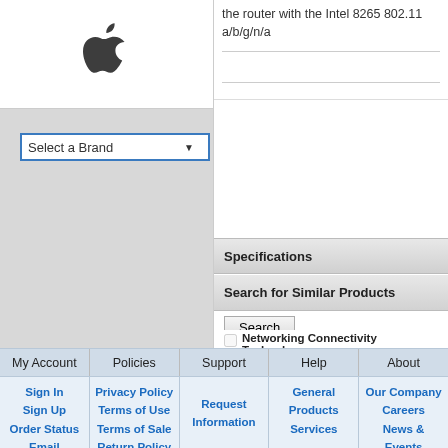[Figure (logo): Apple logo in dark gray/black]
Select a Brand
the router with the Intel 8265 802.11 a/b/g/n/ac
Specifications
Search for Similar Products
Search button
Networking Connectivity Technology
Networking Data Link Protocol - IEEE
Networking Data Link Protocol - IEEE
Networking Data Link Protocol - IEEE
My Account | Policies | Support | Help | About
Sign In
Sign Up
Order Status
Email
Subscriptions
Privacy Policy
Terms of Use
Terms of Sale
Return Policy
Request
Information
General
Products
Services
Our Company
Careers
News &
Events